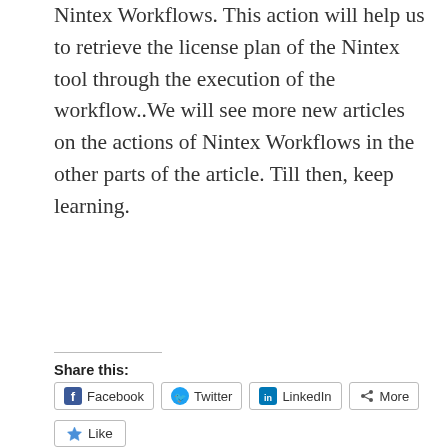Nintex Workflows. This action will help us to retrieve the license plan of the Nintex tool through the execution of the workflow..We will see more new articles on the actions of Nintex Workflows in the other parts of the article. Till then, keep learning.
Share this:
Facebook  Twitter  LinkedIn  More
Like
Be the first to like this.
Office 365 Retrieve License Plans In SharePoint Online And Office 365 Using Nintex Workflows
July 18, 2016
Ofice 365 Assign License In SharePoint Online And Office 365 Using Nintex Workflows
July 8, 2016
In "Nintex"